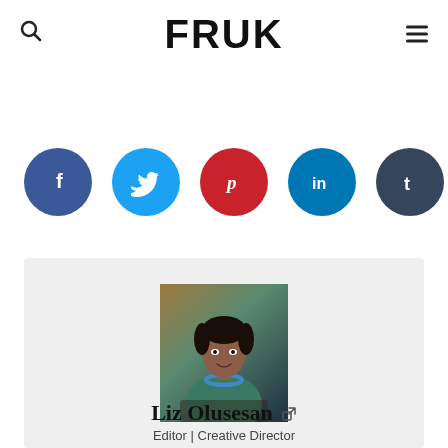FRUK
[Figure (infographic): Six social media share buttons in colored circles: Facebook (dark blue, f), Twitter (light blue, bird), Pinterest (red, p), LinkedIn (teal, in), Tumblr (dark blue-gray, t), WhatsApp (green, phone)]
[Figure (photo): Author photo of Liz Olusesan, a woman wearing a teal/green outfit and blue necklace, seated at a table in a warmly lit setting]
Liz Olusesan
Editor | Creative Director